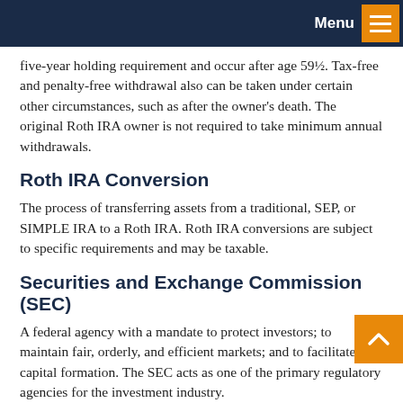Menu
five-year holding requirement and occur after age 59½. Tax-free and penalty-free withdrawal also can be taken under certain other circumstances, such as after the owner's death. The original Roth IRA owner is not required to take minimum annual withdrawals.
Roth IRA Conversion
The process of transferring assets from a traditional, SEP, or SIMPLE IRA to a Roth IRA. Roth IRA conversions are subject to specific requirements and may be taxable.
Securities and Exchange Commission (SEC)
A federal agency with a mandate to protect investors; to maintain fair, orderly, and efficient markets; and to facilitate capital formation. The SEC acts as one of the primary regulatory agencies for the investment industry.